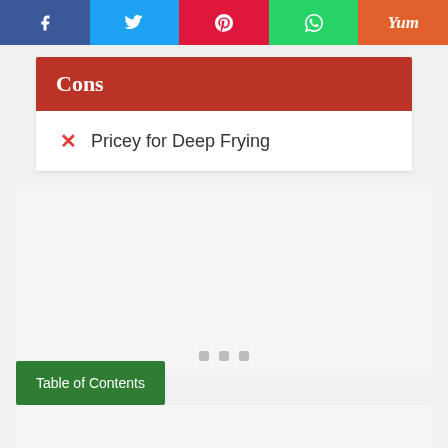Social share bar: Facebook, Twitter, Pinterest, WhatsApp, Yummly
Cons
✗ Pricey for Deep Frying
[Figure (other): Grey content placeholder area with three small grey squares at bottom center]
Table of Contents